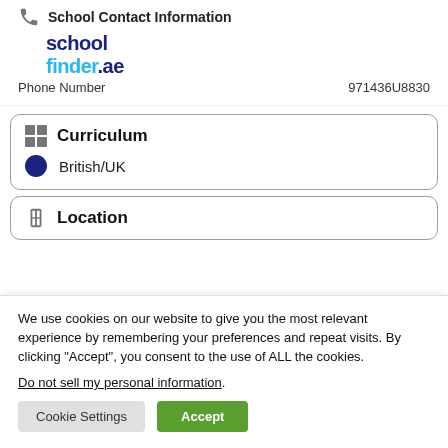School Contact Information
[Figure (logo): schoolfinder.uae logo with 'school' in dark blue and 'finder' in light blue]
Phone Number   971436U8830
Curriculum
British/UK
Location
We use cookies on our website to give you the most relevant experience by remembering your preferences and repeat visits. By clicking “Accept”, you consent to the use of ALL the cookies.
Do not sell my personal information.
Cookie Settings   Accept